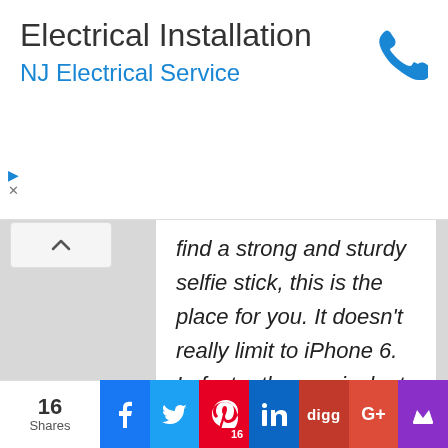[Figure (screenshot): Ad banner: Electrical Installation heading with NJ Electrical Service subtitle in blue, and a blue phone icon on the right. Small play and close controls on the left.]
find a strong and sturdy selfie stick, this is the place for you. It doesn't really limit to iPhone 6. In fact, other equivalent smartphones of the same sizes or weight, including those bigger versions do apply. Just check the specs and see if any one of the selfie sticks below will make a good fit for your smartphone. For example, if you are looking for the best selfie stick for iPhone 6s
16 Shares | Facebook | Twitter | Pinterest 16 | LinkedIn | digg | G+ | (stumbleupon)